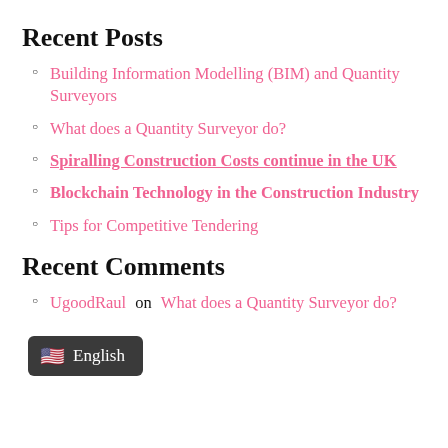Recent Posts
Building Information Modelling (BIM) and Quantity Surveyors
What does a Quantity Surveyor do?
Spiralling Construction Costs continue in the UK
Blockchain Technology in the Construction Industry
Tips for Competitive Tendering
Recent Comments
UgoodRaul on What does a Quantity Surveyor do?
🇺🇸 English